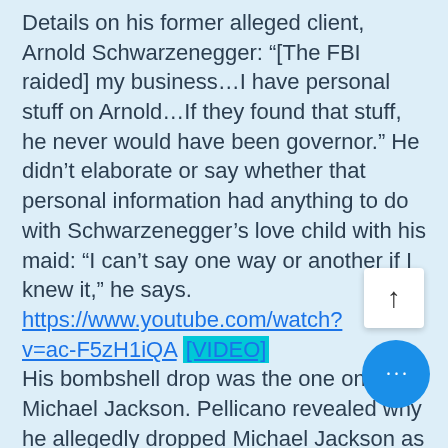Details on his former alleged client, Arnold Schwarzenegger: “[The FBI raided] my business…I have personal stuff on Arnold…If they found that stuff, he never would have been governor.” He didn’t elaborate or say whether that personal information had anything to do with Schwarzenegger’s love child with his maid: “I can’t say one way or another if I knew it,” he says. https://www.youtube.com/watch?v=ac-F5zH1iQA [VIDEO] His bombshell drop was the one on Michael Jackson. Pellicano revealed why he allegedly dropped Michael Jackson as a client, who hired him to investigate one of the families accusing him in his 2003 child